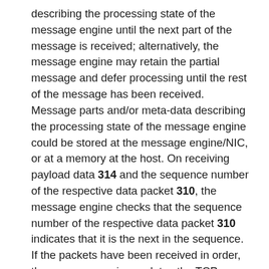describing the processing state of the message engine until the next part of the message is received; alternatively, the message engine may retain the partial message and defer processing until the rest of the message has been received. Message parts and/or meta-data describing the processing state of the message engine could be stored at the message engine/NIC, or at a memory at the host. On receiving payload data 314 and the sequence number of the respective data packet 310, the message engine checks that the sequence number of the respective data packet 310 indicates that it is the next in the sequence. If the packets have been received in order, the message engine updates the TCP sequence number it maintains for that stream and proceeds to identify the remaining part of message 307 in the payload data 314. Once message 307 has been reformed using the stored first part of the message, the message engine completes upper layer protocol processing of message 307 (if necessary using the stored